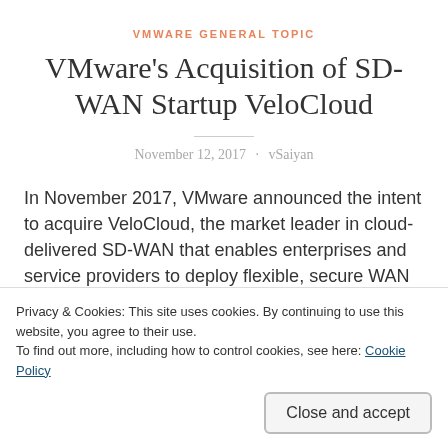VMWARE GENERAL TOPIC
VMware’s Acquisition of SD-WAN Startup VeloCloud
November 12, 2017 · vSaiyan
In November 2017, VMware announced the intent to acquire VeloCloud, the market leader in cloud-delivered SD-WAN that enables enterprises and service providers to deploy flexible, secure WAN
Privacy & Cookies: This site uses cookies. By continuing to use this website, you agree to their use.
To find out more, including how to control cookies, see here: Cookie Policy
private